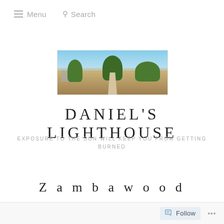Menu   Search
[Figure (photo): Wide-angle landscape photo showing a dirt path leading through dry grassland with trees and a building on the left under a blue sky]
DANIEL'S LIGHTHOUSE
EXPOSURE TO THE SON WILL KEEP YOU FROM GETTING BURNED
Zambawood
Follow   ...